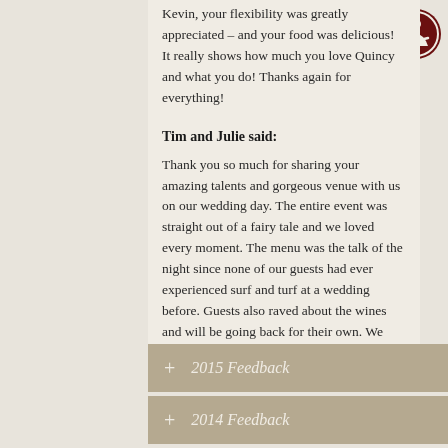Kevin, your flexibility was greatly appreciated – and your food was delicious! It really shows how much you love Quincy and what you do! Thanks again for everything!
Tim and Julie said:
Thank you so much for sharing your amazing talents and gorgeous venue with us on our wedding day. The entire event was straight out of a fairy tale and we loved every moment. The menu was the talk of the night since none of our guests had ever experienced surf and turf at a wedding before. Guests also raved about the wines and will be going back for their own. We will stay in touch and hope to have a private party or two in the future.
+ 2015 Feedback
+ 2014 Feedback